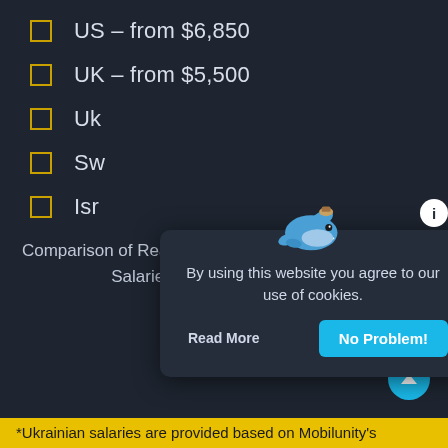US – from $6,850
UK – from $5,500
Uk…
Sw…
Isr…
[Figure (screenshot): Cookie consent popup with a whale emoji graphic, info button, message 'By using this website you agree to our use of cookies.', and two buttons: 'Read More' and 'No Problem!']
Comparison of React Developer Average Monthly Net Salaries in Different Countries
*Ukrainian salaries are provided based on Mobilunity's